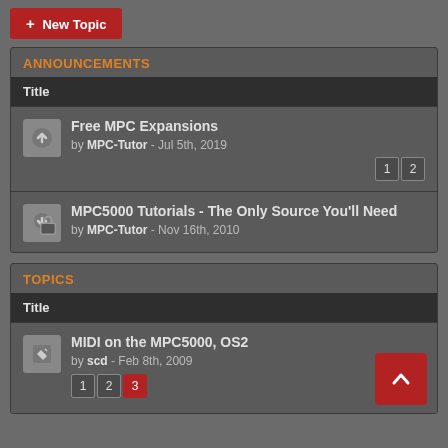+ New Topic
ANNOUNCEMENTS
Title
Free MPC Expansions by MPC-Tutor - Jul 5th, 2019 [1] [2]
MPC5000 Tutorials - The Only Source You'll Need by MPC-Tutor - Nov 16th, 2010
TOPICS
Title
MIDI on the MPC5000, OS2 by scd - Feb 8th, 2009 [1] [2] [3]